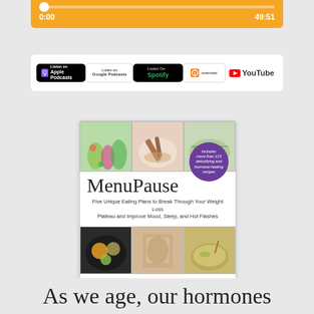[Figure (screenshot): Orange audio player showing progress bar at 0:00 with total time 49:51]
[Figure (screenshot): Podcast platform badges: Apple Podcasts, Google Podcasts, Spotify, Overcast, YouTube]
[Figure (photo): Book cover of MenuPause by Anna Cabeca, DO OBGYN, FACOG - Five Unique Eating Plans to Break Through Your Weight Loss Plateau and Improve Mood, Sleep, and Hot Flashes]
As we age, our hormones